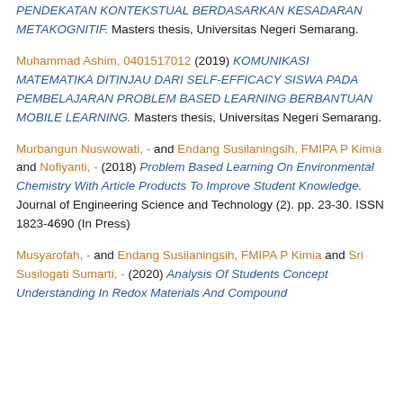PENDEKATAN KONTEKSTUAL BERDASARKAN KESADARAN METAKOGNITIF. Masters thesis, Universitas Negeri Semarang.
Muhammad Ashim, 0401517012 (2019) KOMUNIKASI MATEMATIKA DITINJAU DARI SELF-EFFICACY SISWA PADA PEMBELAJARAN PROBLEM BASED LEARNING BERBANTUAN MOBILE LEARNING. Masters thesis, Universitas Negeri Semarang.
Murbangun Nuswowati, - and Endang Susilaningsih, FMIPA P Kimia and Nofiyanti, - (2018) Problem Based Learning On Environmental Chemistry With Article Products To Improve Student Knowledge. Journal of Engineering Science and Technology (2). pp. 23-30. ISSN 1823-4690 (In Press)
Musyarofah, - and Endang Susilaningsih, FMIPA P Kimia and Sri Susilogati Sumarti, - (2020) Analysis Of Students Concept Understanding In Redox Materials And Compound